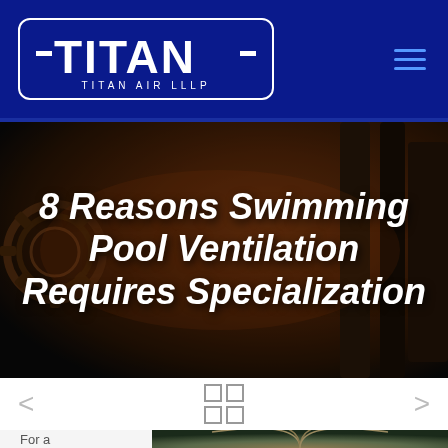[Figure (logo): Titan Air LLLP logo: white rectangular rounded border containing bold white TITAN text with horizontal bar accents and TITAN AIR LLLP subtitle, on dark blue background]
8 Reasons Swimming Pool Ventilation Requires Specialization
[Figure (other): Grid/slider navigation icon with four squares in 2x2 arrangement]
For a
[Figure (photo): Architectural photo showing curved glass and metal roof structure, viewed from below looking upward]